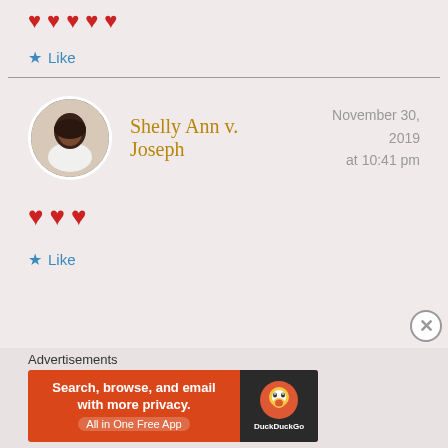❤️❤️❤️❤️❤️ (five hearts)
★ Like
Shelly Ann v. Joseph
November 30, 2019 at 10:41 pm
❤️❤️❤️ (three hearts)
★ Like
Advertisements
[Figure (screenshot): DuckDuckGo advertisement banner: orange background with text 'Search, browse, and email with more privacy. All in One Free App' and DuckDuckGo logo on dark background]